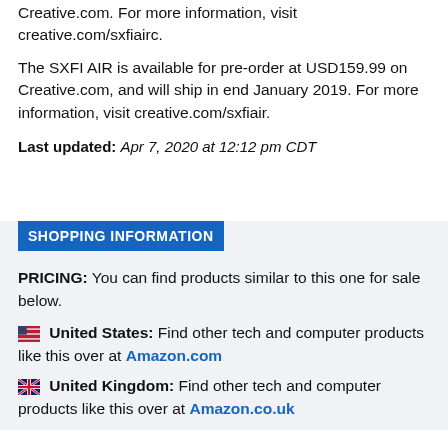Creative.com. For more information, visit creative.com/sxfiairc.
The SXFI AIR is available for pre-order at USD159.99 on Creative.com, and will ship in end January 2019. For more information, visit creative.com/sxfiair.
Last updated: Apr 7, 2020 at 12:12 pm CDT
SHOPPING INFORMATION
PRICING: You can find products similar to this one for sale below.
🇺🇸 United States: Find other tech and computer products like this over at Amazon.com
🇬🇧 United Kingdom: Find other tech and computer products like this over at Amazon.co.uk